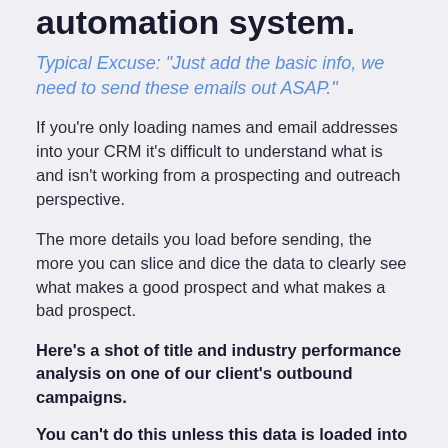automation system.
Typical Excuse: "Just add the basic info, we need to send these emails out ASAP."
If you're only loading names and email addresses into your CRM it's difficult to understand what is and isn't working from a prospecting and outreach perspective.
The more details you load before sending, the more you can slice and dice the data to clearly see what makes a good prospect and what makes a bad prospect.
Here's a shot of title and industry performance analysis on one of our client's outbound campaigns.
You can't do this unless this data is loaded into